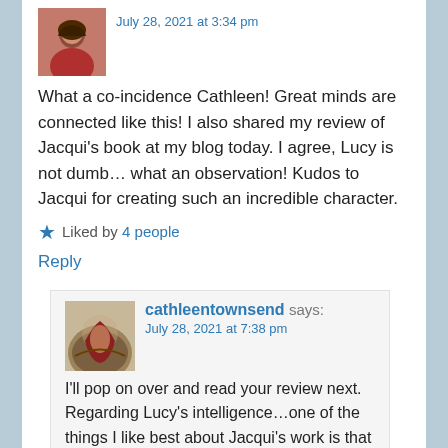[Figure (photo): Avatar photo of a woman with dark hair wearing a red garment]
July 28, 2021 at 3:34 pm
What a co-incidence Cathleen! Great minds are connected like this! I also shared my review of Jacqui's book at my blog today. I agree, Lucy is not dumb… what an observation! Kudos to Jacqui for creating such an incredible character.
★ Liked by 4 people
Reply
[Figure (photo): Avatar photo showing a figure in a red cape in a painterly/illustrated style]
cathleentownsend says:
July 28, 2021 at 7:38 pm
I'll pop on over and read your review next. Regarding Lucy's intelligence…one of the things I like best about Jacqui's work is that it challenges me to re-evaluate what true intelligence looks like. And I agree, creating such